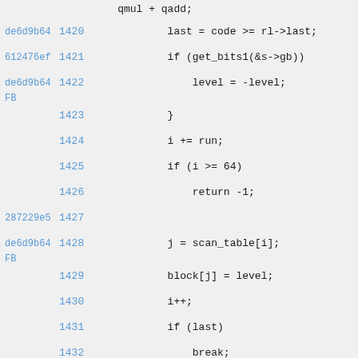[Figure (screenshot): Source code viewer showing lines 1419-1434 of a C/C++ source file with commit hashes (de6d9b64, 612476ef, 287229e5) in the left margin, line numbers in blue, and code content in monospace font on a light gray background.]